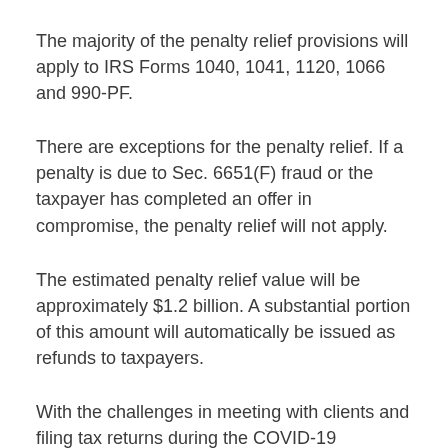The majority of the penalty relief provisions will apply to IRS Forms 1040, 1041, 1120, 1066 and 990-PF.
There are exceptions for the penalty relief. If a penalty is due to Sec. 6651(F) fraud or the taxpayer has completed an offer in compromise, the penalty relief will not apply.
The estimated penalty relief value will be approximately $1.2 billion. A substantial portion of this amount will automatically be issued as refunds to taxpayers.
With the challenges in meeting with clients and filing tax returns during the COVID-19 pandemic,